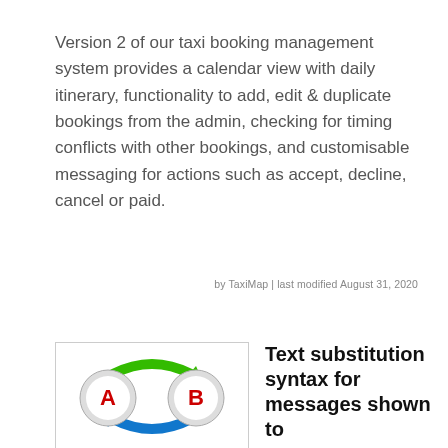Version 2 of our taxi booking management system provides a calendar view with daily itinerary, functionality to add, edit & duplicate bookings from the admin, checking for timing conflicts with other bookings, and customisable messaging for actions such as accept, decline, cancel or paid.
by TaxiMap | last modified August 31, 2020
[Figure (illustration): Illustration showing A and B circular icons with green and blue arrows cycling between them, representing text substitution]
Text substitution syntax for messages shown to